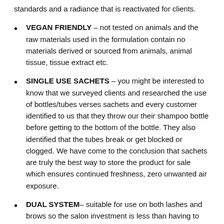standards and a radiance that is reactivated for clients.
VEGAN FRIENDLY – not tested on animals and the raw materials used in the formulation contain no materials derived or sourced from animals, animal tissue, tissue extract etc.
SINGLE USE SACHETS – you might be interested to know that we surveyed clients and researched the use of bottles/tubes verses sachets and every customer identified to us that they throw our their shampoo bottle before getting to the bottom of the bottle. They also identified that the tubes break or get blocked or clogged. We have come to the conclusion that sachets are truly the best way to store the product for sale which ensures continued freshness, zero unwanted air exposure.
DUAL SYSTEM– suitable for use on both lashes and brows so the salon investment is less than having to stock a range for each service (one for lash lifting and another for brow lamination).
RESULTS THAT LAST – 6 to 8 weeks with a reduced chance of